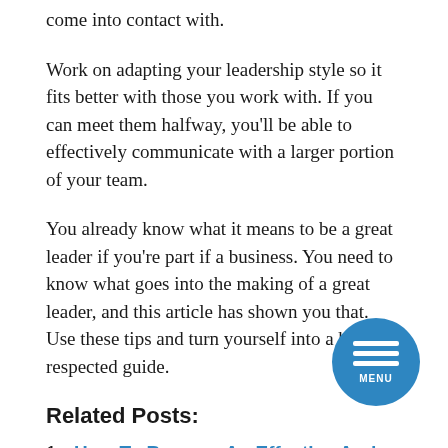come into contact with.
Work on adapting your leadership style so it fits better with those you work with. If you can meet them halfway, you'll be able to effectively communicate with a larger portion of your team.
You already know what it means to be a great leader if you're part if a business. You need to know what goes into the making of a great leader, and this article has shown you that. Use these tips and turn yourself into a highly respected guide.
Related Posts:
How To Become An Effective And Trusted Leader
Leadership Solutions For Common Problems At Work